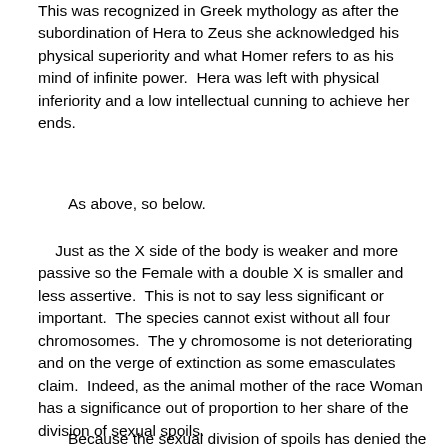This was recognized in Greek mythology as after the subordination of Hera to Zeus she acknowledged his physical superiority and what Homer refers to as his mind of infinite power.  Hera was left with physical inferiority and a low intellectual cunning to achieve her ends.
As above, so below.
Just as the X side of the body is weaker and more passive so the Female with a double X is smaller and less assertive.  This is not to say less significant or important.  The species cannot exist without all four chromosomes.  The y chromosome is not deteriorating and on the verge of extinction as some emasculates claim.  Indeed, as the animal mother of the race Woman has a significance out of proportion to her share of the division of sexual spoils.
Because the sexual division of spoils has denied the